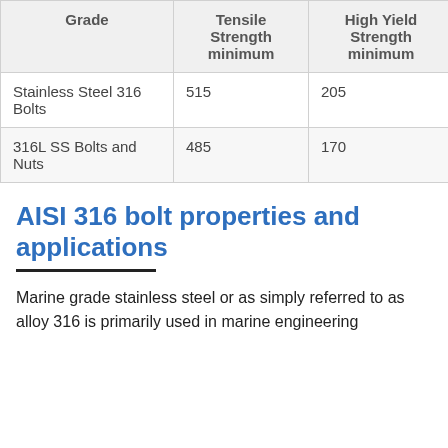| Grade | Tensile Strength minimum | High Yield Strength minimum | Elongation minimum | H… |
| --- | --- | --- | --- | --- |
| Stainless Steel 316 Bolts | 515 | 205 | 40 | 95 |
| 316L SS Bolts and Nuts | 485 | 170 | 40 | 95 |
AISI 316 bolt properties and applications
Marine grade stainless steel or as simply referred to as alloy 316 is primarily used in marine engineering